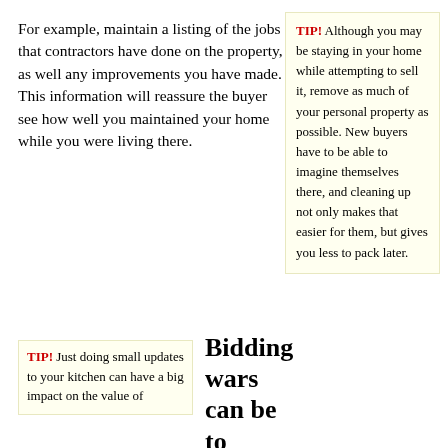For example, maintain a listing of the jobs that contractors have done on the property, as well any improvements you have made. This information will reassure the buyer see how well you maintained your home while you were living there.
TIP! Although you may be staying in your home while attempting to sell it, remove as much of your personal property as possible. New buyers have to be able to imagine themselves there, and cleaning up not only makes that easier for them, but gives you less to pack later.
TIP! Just doing small updates to your kitchen can have a big impact on the value of
Bidding wars can be to your